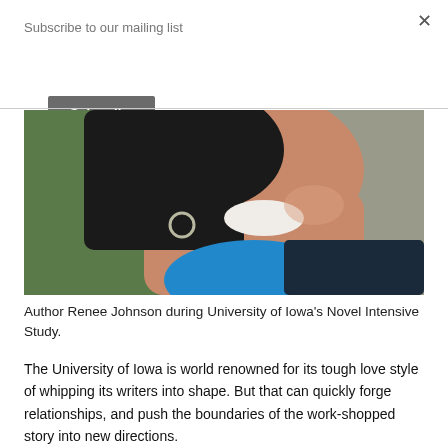Subscribe to our mailing list
Subscribe
[Figure (photo): Close-up photo of Author Renee Johnson smiling, wearing a blue top and hoop earring, taken outdoors during University of Iowa's Novel Intensive Study.]
Author Renee Johnson during University of Iowa's Novel Intensive Study.
The University of Iowa is world renowned for its tough love style of whipping its writers into shape. But that can quickly forge relationships, and push the boundaries of the work-shopped story into new directions.